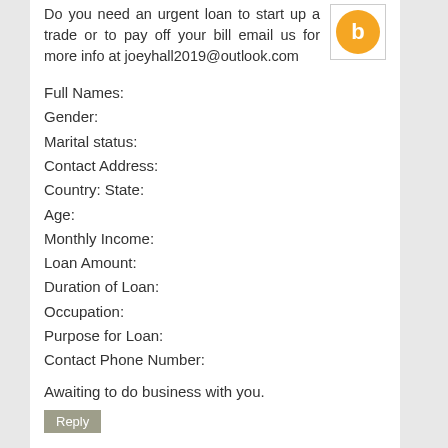Do you need an urgent loan to start up a trade or to pay off your bill email us for more info at joeyhall2019@outlook.com
Full Names:
Gender:
Marital status:
Contact Address:
Country: State:
Age:
Monthly Income:
Loan Amount:
Duration of Loan:
Occupation:
Purpose for Loan:
Contact Phone Number:
Awaiting to do business with you.
Reply
Bob September 18, 2020 at 2:33 PM
Wo finden Sie ein ehrliches Online-Casino, das Ihnen Sieg und angenehme Gewinne bescheren kann? Zum Glück habe ich diesen